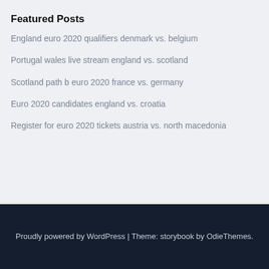Featured Posts
England euro 2020 qualifiers denmark vs. belgium
Portugal wales live stream england vs. scotland
Scotland path b euro 2020 france vs. germany
Euro 2020 candidates england vs. croatia
Register for euro 2020 tickets austria vs. north macedonia
Proudly powered by WordPress | Theme: storybook by OdieThemes.